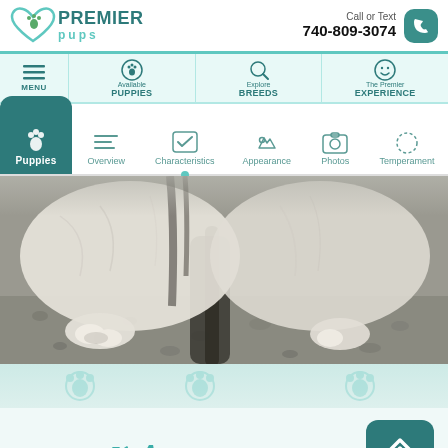[Figure (logo): Premier Pups logo with heart/paw icon]
Call or Text 740-809-3074
Available PUPPIES | Explore BREEDS | The Premier EXPERIENCE
Puppies | Overview | Characteristics | Appearance | Photos | Temperament
[Figure (photo): Close-up photo of puppy fur/body from behind on gravel surface]
Appearance
TOP